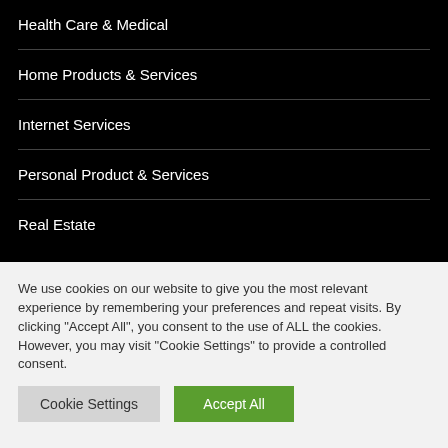Health Care & Medical
Home Products & Services
Internet Services
Personal Product & Services
Real Estate
We use cookies on our website to give you the most relevant experience by remembering your preferences and repeat visits. By clicking "Accept All", you consent to the use of ALL the cookies. However, you may visit "Cookie Settings" to provide a controlled consent.
Cookie Settings | Accept All